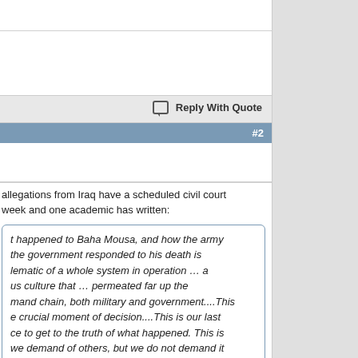Reply With Quote
#2
allegations from Iraq have a scheduled civil court week and one academic has written:
t happened to Baha Mousa, and how the army the government responded to his death is lematic of a whole system in operation … a us culture that … permeated far up the mand chain, both military and government....This e crucial moment of decision....This is our last ce to get to the truth of what happened. This is we demand of others, but we do not demand it urselves. What kind of message does that give world about who we are?
www.guardian.co.uk/uk/2013/ja...d-iraq-torture